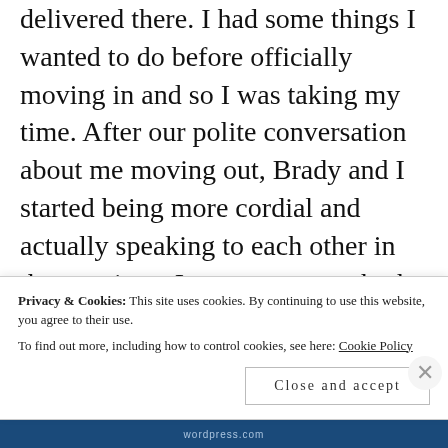delivered there. I had some things I wanted to do before officially moving in and so I was taking my time. After our polite conversation about me moving out, Brady and I started being more cordial and actually speaking to each other in the evenings. I guess we were both just over being mad at each other.

And then on Valentine's Day, when I brought Winnie downstairs for
Privacy & Cookies: This site uses cookies. By continuing to use this website, you agree to their use.
To find out more, including how to control cookies, see here: Cookie Policy
Close and accept
wordpress.com